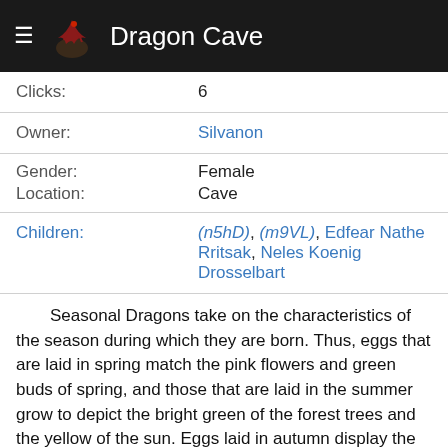Dragon Cave
| Clicks: | 6 |
| Owner: | Silvanon |
| Gender: | Female |
| Location: | Cave |
| Children: | (n5hD), (m9VL), Edfear Nathe Rritsak, Neles Koenig Drosselbart |
Seasonal Dragons take on the characteristics of the season during which they are born. Thus, eggs that are laid in spring match the pink flowers and green buds of spring, and those that are laid in the summer grow to depict the bright green of the forest trees and the yellow of the sun. Eggs laid in autumn display the bright colors of leaves falling from trees, and those that are laid during winter take on the appearance of the icy snow.
Dragons are highly-intelligent reptilian creatures that—from a human perspective, at least—appear to live forever. Many different